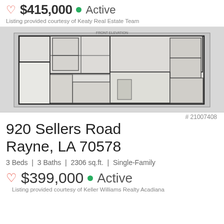$415,000 • Active
Listing provided courtesy of Keaty Real Estate Team
[Figure (schematic): Floor plan / architectural blueprint of a single-family home showing room layout]
# 21007408
920 Sellers Road
Rayne, LA 70578
3 Beds | 3 Baths | 2306 sq.ft. | Single-Family
$399,000 • Active
Listing provided courtesy of Keller Williams Realty Acadiana